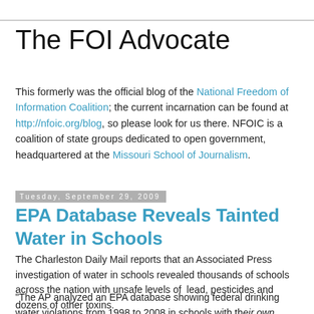The FOI Advocate
This formerly was the official blog of the National Freedom of Information Coalition; the current incarnation can be found at http://nfoic.org/blog, so please look for us there. NFOIC is a coalition of state groups dedicated to open government, headquartered at the Missouri School of Journalism.
Tuesday, September 29, 2009
EPA Database Reveals Tainted Water in Schools
The Charleston Daily Mail reports that an Associated Press investigation of water in schools revealed thousands of schools across the nation with unsafe levels of  lead, pesticides and dozens of other toxins.
"The AP analyzed an EPA database showing federal drinking water violations from 1998 to 2008 in schools with their own water supplies. The findings...